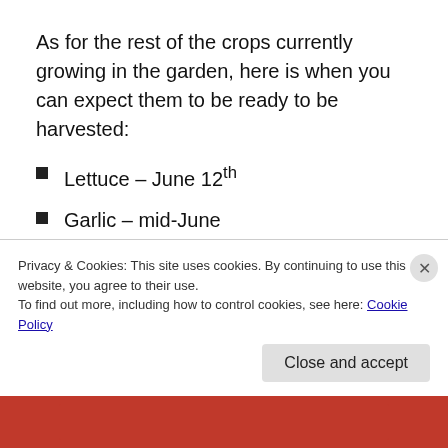As for the rest of the crops currently growing in the garden, here is when you can expect them to be ready to be harvested:
Lettuce – June 12th
Garlic – mid-June
Kale – June 18th
Peas – June 19th
Beets – June 23rd
Carrots – July 7th
Collard Greens – July 9th (partial, obscured by cookie banner)
Privacy & Cookies: This site uses cookies. By continuing to use this website, you agree to their use.
To find out more, including how to control cookies, see here: Cookie Policy